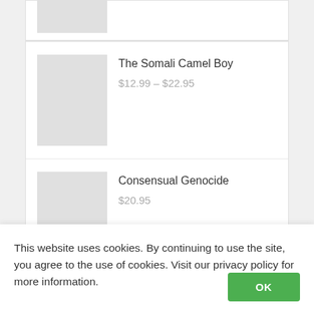[Figure (photo): Partially visible product image placeholder (light gray rectangle, top cropped)]
The Somali Camel Boy
$12.99 – $22.95
Consensual Genocide
$20.95
Archives
July 2021
This website uses cookies. By continuing to use the site, you agree to the use of cookies. Visit our privacy policy for more information.